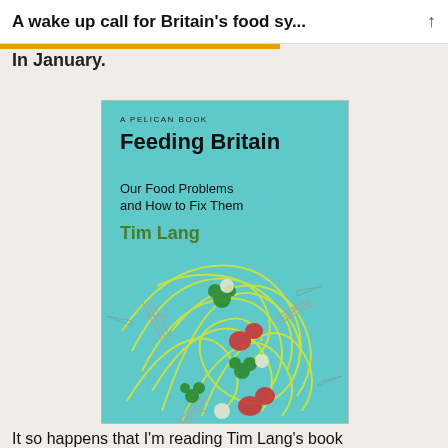A wake up call for Britain's food sy...
In January.
[Figure (illustration): Book cover of 'Feeding Britain: Our Food Problems and How to Fix Them' by Tim Lang, published as a Pelican Book. Teal/cyan background with colorful illustration of a map of Britain made of tangled yellow noodles/spaghetti with vegetables (green, red, white items) and forks scattered throughout.]
It so happens that I'm reading Tim Lang's book